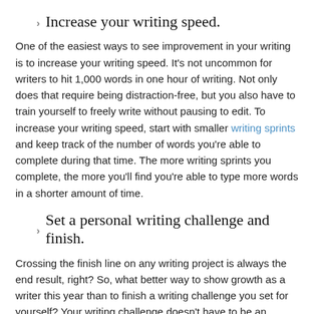Increase your writing speed.
One of the easiest ways to see improvement in your writing is to increase your writing speed. It's not uncommon for writers to hit 1,000 words in one hour of writing. Not only does that require being distraction-free, but you also have to train yourself to freely write without pausing to edit. To increase your writing speed, start with smaller writing sprints and keep track of the number of words you're able to complete during that time. The more writing sprints you complete, the more you'll find you're able to type more words in a shorter amount of time.
Set a personal writing challenge and finish.
Crossing the finish line on any writing project is always the end result, right? So, what better way to show growth as a writer this year than to finish a writing challenge you set for yourself? Your writing challenge doesn't have to be an 80,000-word manuscript. You could choose to write a short story, a novella,